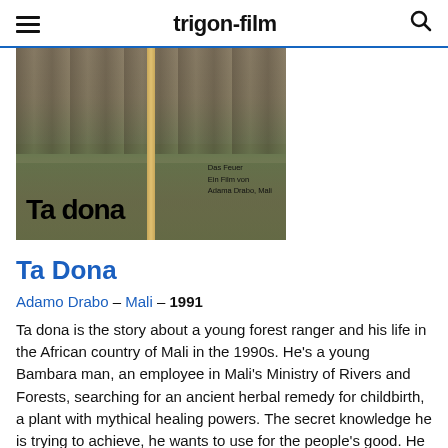trigon-film
[Figure (photo): Movie poster/cover for 'Ta Dona' showing people standing in a field with a wooden pole, bold title text 'Ta dona' at bottom left, and subtitle 'Das Feuer Ein Film von Adama Drabo, Mali' on the right side.]
Ta Dona
Adamo Drabo – Mali – 1991
Ta dona is the story about a young forest ranger and his life in the African country of Mali in the 1990s. He's a young Bambara man, an employee in Mali's Ministry of Rivers and Forests, searching for an ancient herbal remedy for childbirth, a plant with mythical healing powers. The secret knowledge he is trying to achieve, he wants to use for the people's good. He sees that his work holds the key to the future of his country (through reforestation) and he dislikes the short-sighted, money-grubbing ways of his superiors. More